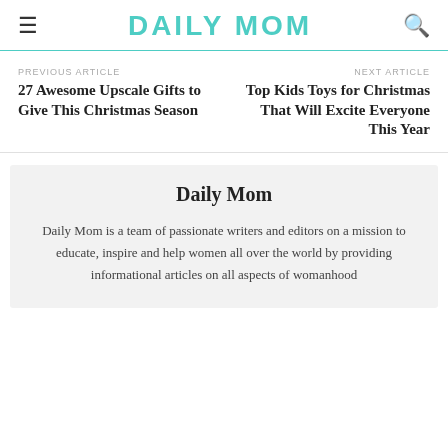DAILY MOM
PREVIOUS ARTICLE
27 Awesome Upscale Gifts to Give This Christmas Season
NEXT ARTICLE
Top Kids Toys for Christmas That Will Excite Everyone This Year
Daily Mom
Daily Mom is a team of passionate writers and editors on a mission to educate, inspire and help women all over the world by providing informational articles on all aspects of womanhood